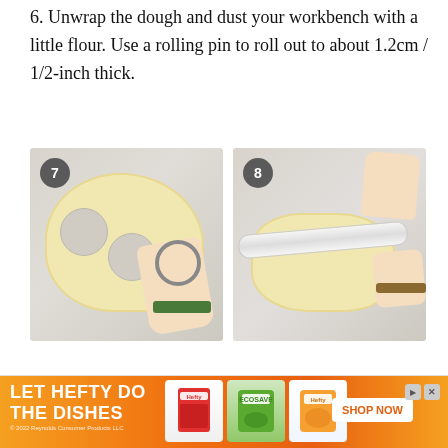6. Unwrap the dough and dust your workbench with a little flour. Use a rolling pin to roll out to about 1.2cm / 1/2-inch thick.
[Figure (photo): Step 7: Hands using a round cookie cutter to cut circles from rolled-out dough on a marble surface. Number badge '7' in top left corner.]
[Figure (photo): Step 8: Hands using a rolling pin to flatten dough on a marble surface. Number badge '8' in top left corner.]
[Figure (infographic): Advertisement banner: 'LET HEFTY DO THE DISHES' with product images and 'SHOP NOW' button. Orange gradient background. Copyright 2022 Reynolds Consumer Products LLC.]